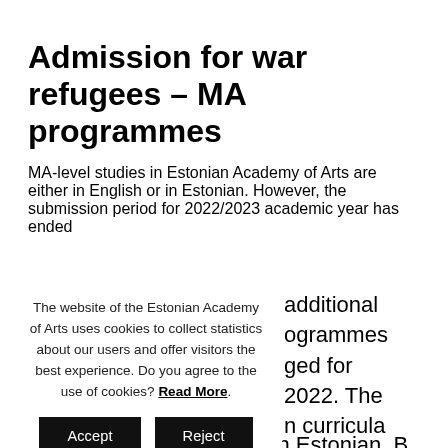Admission for war refugees – MA programmes
MA-level studies in Estonian Academy of Arts are either in English or in Estonian. However, the submission period for 2022/2023 academic year has ended additional ogrammes ged for 2022. The n curricula quisite for ian MA
The website of the Estonian Academy of Arts uses cookies to collect statistics about our users and offer visitors the best experience. Do you agree to the use of cookies? Read More.
Accept  Reject